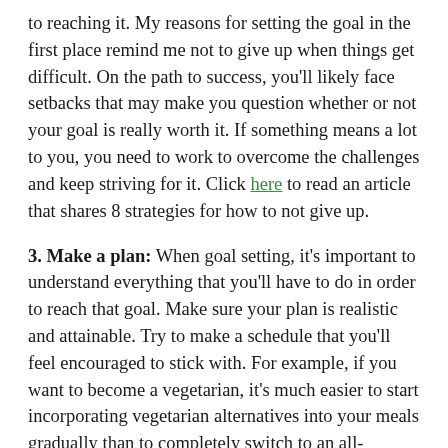to reaching it. My reasons for setting the goal in the first place remind me not to give up when things get difficult. On the path to success, you'll likely face setbacks that may make you question whether or not your goal is really worth it. If something means a lot to you, you need to work to overcome the challenges and keep striving for it. Click here to read an article that shares 8 strategies for how to not give up.
3. Make a plan: When goal setting, it's important to understand everything that you'll have to do in order to reach that goal. Make sure your plan is realistic and attainable. Try to make a schedule that you'll feel encouraged to stick with. For example, if you want to become a vegetarian, it's much easier to start incorporating vegetarian alternatives into your meals gradually than to completely switch to an all-vegetarian diet. You could pick one day of the week where you only eat vegetarian foods, then slowly add another day, then do three days, and so on. Remember that some things will take time and there may be setbacks, but don't let that discourage you. Make